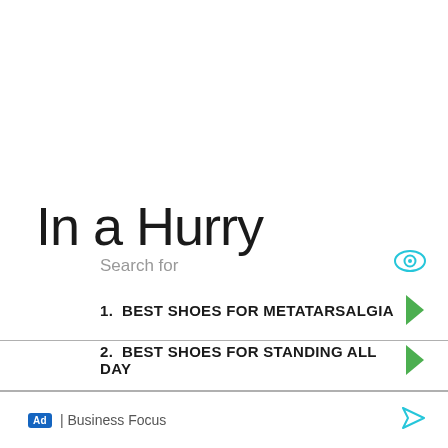In a Hurry
Search for
1.  BEST SHOES FOR METATARSALGIA
2.  BEST SHOES FOR STANDING ALL DAY
Ad | Business Focus